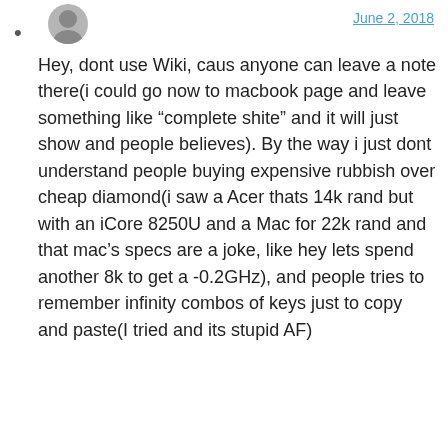shade — June 2, 2018
Hey, dont use Wiki, caus anyone can leave a note there(i could go now to macbook page and leave something like “complete shite” and it will just show and people believes). By the way i just dont understand people buying expensive rubbish over cheap diamond(i saw a Acer thats 14k rand but with an iCore 8250U and a Mac for 22k rand and that mac’s specs are a joke, like hey lets spend another 8k to get a -0.2GHz), and people tries to remember infinity combos of keys just to copy and paste(I tried and its stupid AF)
Heywood Jableuxme — March 2, 2018